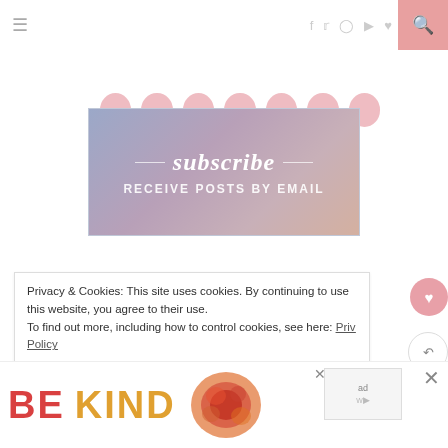≡  f  t  IG  P  ♥  ▶  RSS  [search]
[Figure (illustration): Row of 7 pink circles/social media icons]
[Figure (illustration): Subscribe banner with script text 'subscribe' and 'RECEIVE POSTS BY EMAIL' on a watercolor blue-purple background]
Privacy & Cookies: This site uses cookies. By continuing to use this website, you agree to their use.
To find out more, including how to control cookies, see here: Privacy Policy
[Figure (illustration): Bottom advertisement area showing 'BE KIND' text in red/orange colors with floral illustration]